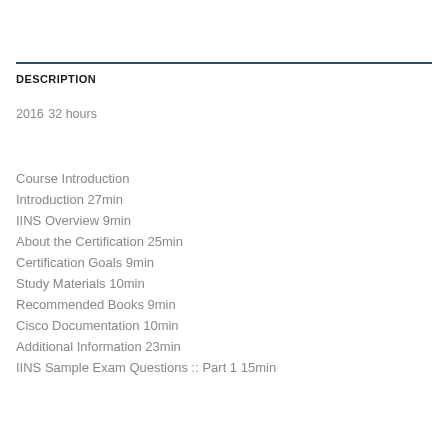DESCRIPTION
2016
32 hours
Course Introduction
Introduction 27min
IINS Overview 9min
About the Certification 25min
Certification Goals 9min
Study Materials 10min
Recommended Books 9min
Cisco Documentation 10min
Additional Information 23min
IINS Sample Exam Questions :: Part 1 15min